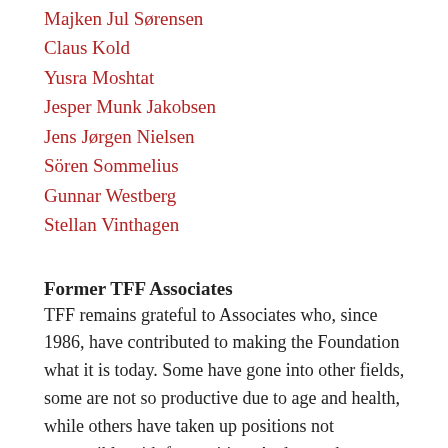Majken Jul Sørensen
Claus Kold
Yusra Moshtat
Jesper Munk Jakobsen
Jens Jørgen Nielsen
Sören Sommelius
Gunnar Westberg
Stellan Vinthagen
Former TFF Associates
TFF remains grateful to Associates who, since 1986, have contributed to making the Foundation what it is today. Some have gone into other fields, some are not so productive due to age and health, while others have taken up positions not compatible with free writing. And some have passed away. All of them have had multi-year engagements with us, remain friends and can still publish their articles with us if they like; we just don't expect them to be active anymore in